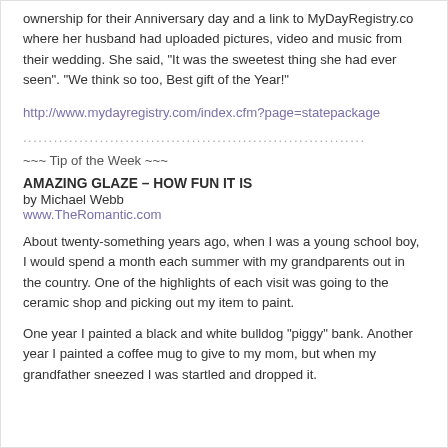ownership for their Anniversary day and a link to MyDayRegistry.com where her husband had uploaded pictures, video and music from their wedding. She said, "It was the sweetest thing she had ever seen". "We think so too, Best gift of the Year!"
http://www.mydayregistry.com/index.cfm?page=statepackage
...................................................................
~~~ Tip of the Week ~~~
AMAZING GLAZE – HOW FUN IT IS
by Michael Webb
www.TheRomantic.com
About twenty-something years ago, when I was a young school boy, I would spend a month each summer with my grandparents out in the country. One of the highlights of each visit was going to the ceramic shop and picking out my item to paint.
One year I painted a black and white bulldog "piggy" bank. Another year I painted a coffee mug to give to my mom, but when my grandfather sneezed I was startled and dropped it.